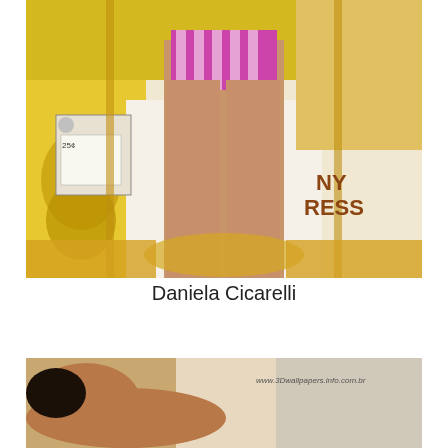[Figure (photo): Photo of Daniela Cicarelli standing in a pink and white striped bikini bottom in front of a colorful carousel with yellow decorative elements and a carousel horse. A 25 cent ticket machine is visible on the left side.]
Daniela Cicarelli
[Figure (photo): Partial photo showing a person in a swimsuit lying down in front of a colorful background. Watermark text 'www.3dwallpapers.info.com.br' visible in upper right corner.]